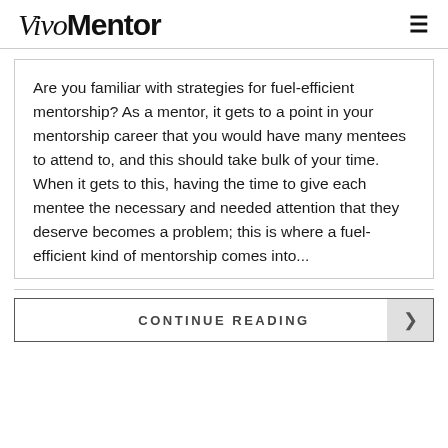VivoMentor
Are you familiar with strategies for fuel-efficient mentorship? As a mentor, it gets to a point in your mentorship career that you would have many mentees to attend to, and this should take bulk of your time. When it gets to this, having the time to give each mentee the necessary and needed attention that they deserve becomes a problem; this is where a fuel-efficient kind of mentorship comes into...
CONTINUE READING